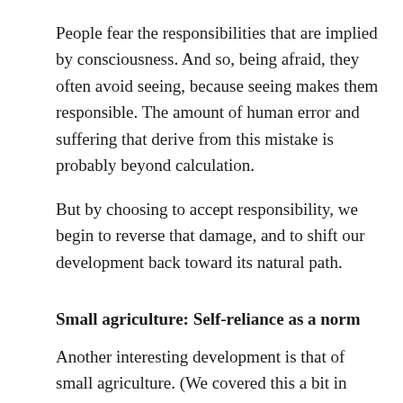People fear the responsibilities that are implied by consciousness. And so, being afraid, they often avoid seeing, because seeing makes them responsible. The amount of human error and suffering that derive from this mistake is probably beyond calculation.
But by choosing to accept responsibility, we begin to reverse that damage, and to shift our development back toward its natural path.
Small agriculture: Self-reliance as a norm
Another interesting development is that of small agriculture. (We covered this a bit in FMP #16.) It is now easy and affordable to grow large volumes of